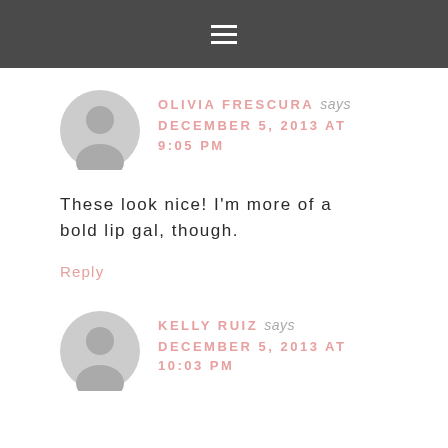≡
OLIVIA FRESCURA says
DECEMBER 5, 2013 AT 9:05 PM
These look nice! I'm more of a bold lip gal, though.
Reply
KELLY RUIZ says
DECEMBER 5, 2013 AT 10:03 PM